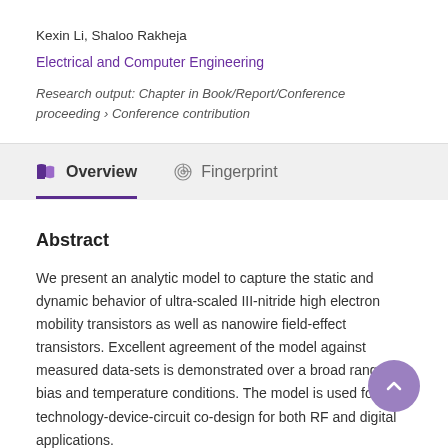Kexin Li, Shaloo Rakheja
Electrical and Computer Engineering
Research output: Chapter in Book/Report/Conference proceeding › Conference contribution
Overview
Fingerprint
Abstract
We present an analytic model to capture the static and dynamic behavior of ultra-scaled III-nitride high electron mobility transistors as well as nanowire field-effect transistors. Excellent agreement of the model against measured data-sets is demonstrated over a broad range of bias and temperature conditions. The model is used for technology-device-circuit co-design for both RF and digital applications.